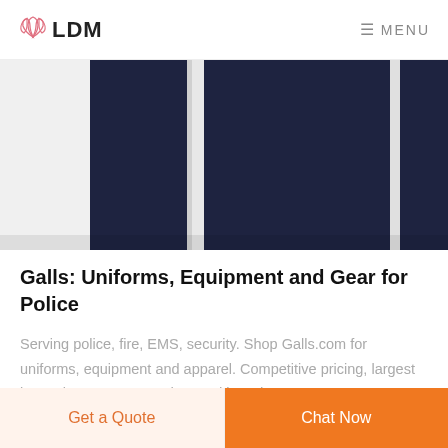LDM  MENU
[Figure (photo): Product photo of a navy blue police/uniform jacket or shirt, shown from the back/front, dark navy color with white detail stripe on the side.]
Galls: Uniforms, Equipment and Gear for Police
Serving police, fire, EMS, security. Shop Galls.com for uniforms, equipment and apparel. Competitive pricing, largest in-stock assortment and trusted brands.
Get a Quote
Chat Now